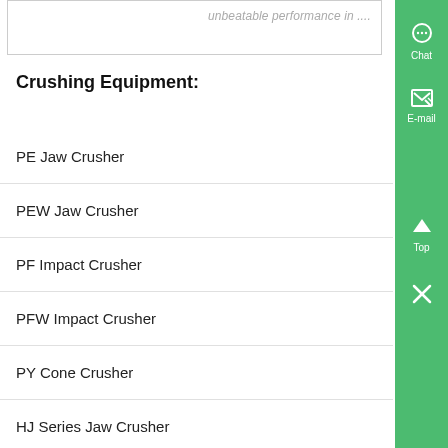unbeatable performance in ....
Crushing Equipment:
PE Jaw Crusher
PEW Jaw Crusher
PF Impact Crusher
PFW Impact Crusher
PY Cone Crusher
HJ Series Jaw Crusher
HPC Cone Crusher